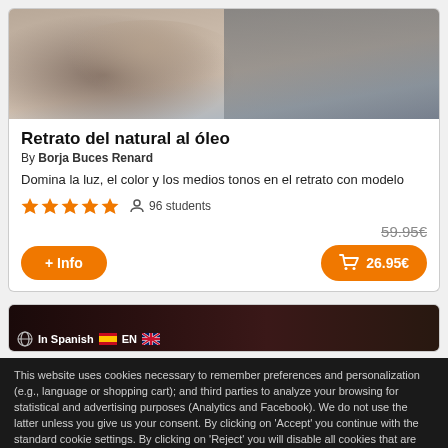[Figure (photo): Top portion of an oil painting portrait course thumbnail showing a painted figure/person]
Retrato del natural al óleo
By Borja Buces Renard
Domina la luz, el color y los medios tonos en el retrato con modelo
★★★★★  96 students
59.95€ (crossed out)  + Info button  🛒 26.95€ button
[Figure (photo): Partial thumbnail of another course showing a dark portrait photo with language badges: In Spanish, Spanish flag, EN, UK flag]
This website uses cookies necessary to remember preferences and personalization (e.g., language or shopping cart); and third parties to analyze your browsing for statistical and advertising purposes (Analytics and Facebook). We do not use the latter unless you give us your consent. By clicking on 'Accept' you continue with the standard cookie settings. By clicking on 'Reject' you will disable all cookies that are not strictly necessary for proper navigation. By clicking on 'Settings' you will get a description of the type of cookies and enable or disable them in a personalized way.
Accept  Reject  Settings